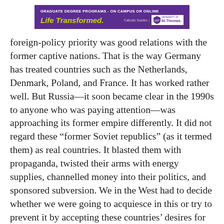[Figure (other): University of St. Thomas advertisement banner with purple background. Text reads: 'GRADUATE DEGREE PROGRAMS - ON CAMPUS OR ONLINE' and 'Life Transformed.' with 'Catholic Studies | St.Thomas.' logo on the right.]
foreign-policy priority was good relations with the former captive nations. That is the way Germany has treated countries such as the Netherlands, Denmark, Poland, and France. It has worked rather well. But Russia—it soon became clear in the 1990s to anyone who was paying attention—was approaching its former empire differently. It did not regard these “former Soviet republics” (as it termed them) as real countries. It blasted them with propaganda, twisted their arms with energy supplies, channelled money into their politics, and sponsored subversion. We in the West had to decide whether we were going to acquiesce in this or try to prevent it by accepting these countries’ desires for closer integration. Fortunately,